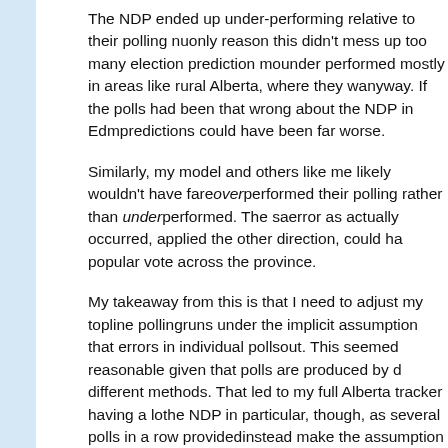The NDP ended up under-performing relative to their polling nu... only reason this didn't mess up too many election prediction mo... under performed mostly in areas like rural Alberta, where they w... anyway. If the polls had been that wrong about the NDP in Edm... predictions could have been far worse.
Similarly, my model and others like me likely wouldn't have fare... overperformed their polling rather than underperformed. The sa... error as actually occurred, applied the other direction, could ha... popular vote across the province.
My takeaway from this is that I need to adjust my topline polling... runs under the implicit assumption that errors in individual polls... out. This seemed reasonable given that polls are produced by d... different methods. That led to my full Alberta tracker having a lo... the NDP in particular, though, as several polls in a row provided... instead make the assumption that at least part of the polling er... polls, perhaps due to something beyond their control, then the... night would have still been a surprise, but far less of one. Certa... into account next time.